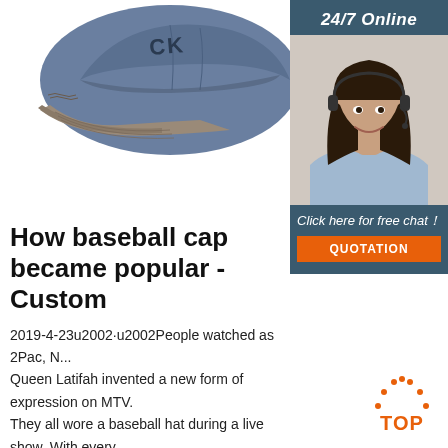[Figure (photo): Close-up photo of a blue/grey washed denim baseball cap with embroidered lettering on white background]
[Figure (photo): 24/7 Online customer service banner with female agent wearing headset, smiling, with 'Click here for free chat!' text and orange QUOTATION button]
How baseball cap became popular - Custom
2019-4-23u2002·u2002People watched as 2Pac, N... Queen Latifah invented a new form of expression on MTV. They all wore a baseball hat during a live show. With every music video produced, baseball cap became fresher, cooler and younger. Baseball cap evolved from a headwear for representing a team, sport or brand into something deeper.
[Figure (logo): Orange TOP badge with dotted arch above]